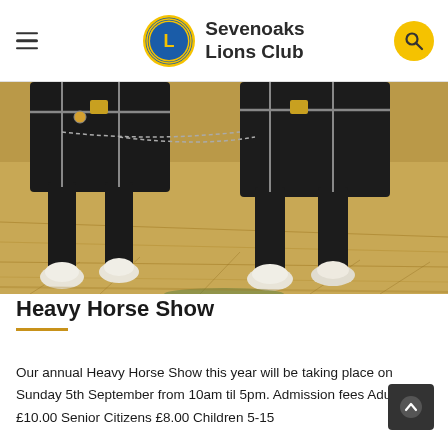Sevenoaks Lions Club
[Figure (photo): Close-up photo of heavy horses' legs with feathered hooves standing on straw/hay ground, horses wearing harnesses with chains]
Heavy Horse Show
Our annual Heavy Horse Show this year will be taking place on Sunday 5th September from 10am til 5pm. Admission fees Adults £10.00 Senior Citizens £8.00 Children 5-15